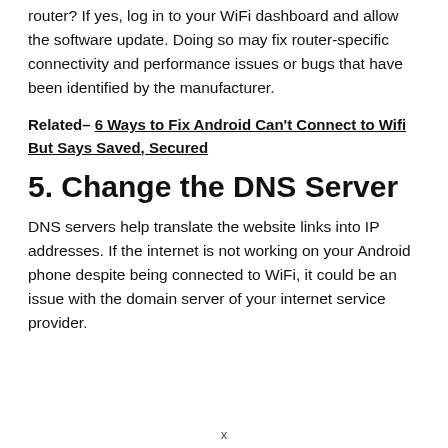router? If yes, log in to your WiFi dashboard and allow the software update. Doing so may fix router-specific connectivity and performance issues or bugs that have been identified by the manufacturer.
Related– 6 Ways to Fix Android Can't Connect to Wifi But Says Saved, Secured
5. Change the DNS Server
DNS servers help translate the website links into IP addresses. If the internet is not working on your Android phone despite being connected to WiFi, it could be an issue with the domain server of your internet service provider.
x